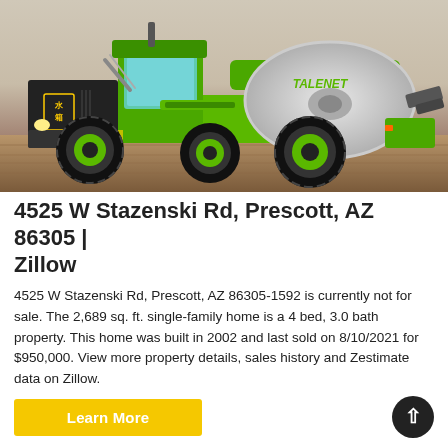[Figure (photo): A green TALENET self-loading concrete mixer truck parked on a wooden floor surface with a light background. The truck features a large rotating drum mixer on the back and the brand name TALENET on the drum.]
4525 W Stazenski Rd, Prescott, AZ 86305 | Zillow
4525 W Stazenski Rd, Prescott, AZ 86305-1592 is currently not for sale. The 2,689 sq. ft. single-family home is a 4 bed, 3.0 bath property. This home was built in 2002 and last sold on 8/10/2021 for $950,000. View more property details, sales history and Zestimate data on Zillow.
Learn More